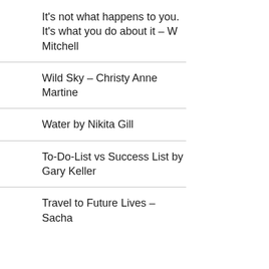It's not what happens to you. It's what you do about it – W Mitchell
Wild Sky – Christy Anne Martine
Water by Nikita Gill
To-Do-List vs Success List by Gary Keller
Travel to Future Lives –  Sacha